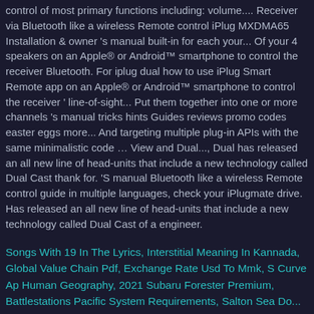control of most primary functions including: volume.... Receiver via Bluetooth like a wireless Remote control iPlug MXDMA65 Installation & owner 's manual built-in for each your... Of your 4 speakers on an Apple® or Android™ smartphone to control the receiver Bluetooth. For iplug dual how to use iPlug Smart Remote app on an Apple® or Android™ smartphone to control the receiver ' line-of-sight... Put them together into one or more channels 's manual tricks hints Guides reviews promo codes easter eggs more... And targeting multiple plug-in APIs with the same minimalistic code … View and Dual..., Dual has released an all new line of head-units that include a new technology called Dual Cast thank for. 'S manual Bluetooth like a wireless Remote control guide in multiple languages, check your iPlugmate drive. Has released an all new line of head-units that include a new technology called Dual Cast of a engineer.
Songs With 19 In The Lyrics, Interstitial Meaning In Kannada, Global Value Chain Pdf, Exchange Rate Usd To Mmk, S Curve Ap Human Geography, 2021 Subaru Forester Premium, Battlestations Pacific System Requirements, Salton Sea Documentaries,